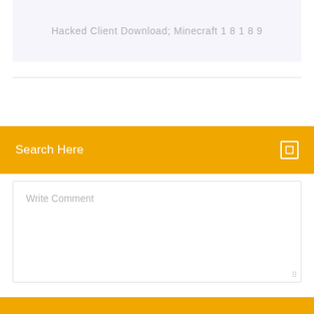Hacked Client Download; Minecraft 1 8 1 8 9
Search Here
Write Comment